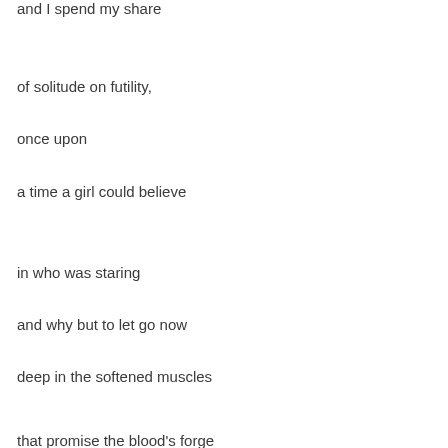and I spend my share
of solitude on futility,
once upon
a time a girl could believe
in who was staring
and why but to let go now
deep in the softened muscles
that promise the blood's forge